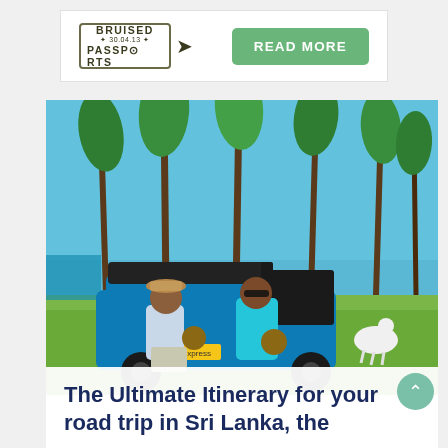[Figure (logo): Bruised Passports logo — rectangular stamp border with text BRUISED * 30.04.13 * PASSPORTS and an arrow]
READ MORE
[Figure (photo): A couple sitting on a blue tuk-tuk (auto-rickshaw) beneath tall palm trees on a sunny day near a coastal area in Sri Lanka, holding coconuts. Blue sky background with green grass and a white goat in background.]
The Ultimate Itinerary for your road trip in Sri Lanka, the